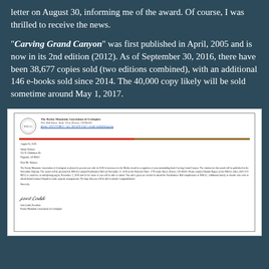letter on August 30, informing me of the award. Of course, I was thrilled to receive the news.
"Carving Grand Canyon" was first published in April, 2005 and is now in its 2nd edition (2012). As of September 30, 2016, there have been 38,677 copies sold (two editions combined), with an additional 146 e-books sold since 2014. The 40,000 copy likely will be sold sometime around May 1, 2017.
[Figure (photo): Scanned letter from The Rocky Mountain Association of Geologists, dated August 30, 2016, addressed to Wayne Ranney, awarding him the 2016 Geosciences Media Award for his book Carving Grand Canyon. Signed by John Ladd, President, Rocky Mountain Association of Geologists.]